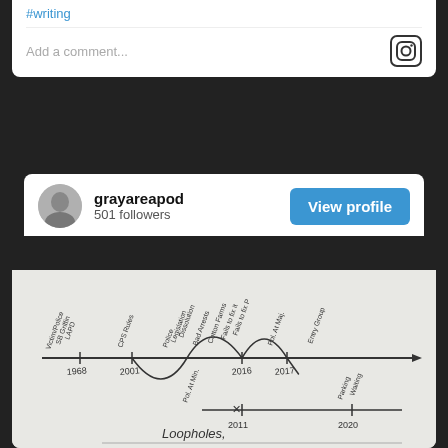#writing
Add a comment...
grayareapod
501 followers
View profile
[Figure (photo): A hand-drawn timeline on white paper showing dates: 1968, 2001, 2016, 2017 on a top line (with annotations about victims/police, SB Griffin, LAPD, CPS rules, police/domestic dissolution, Bad Arrests, Cotton Farms, Fails to fix it, Fails to fix it, P, Pol. At Maj., Entry Group) and 2011, 2020 on a bottom line (with annotations about Pol. At Min., Parking, Waiting). The word 'Loopholes' is written below, and 'Waiting Room' at the bottom.]